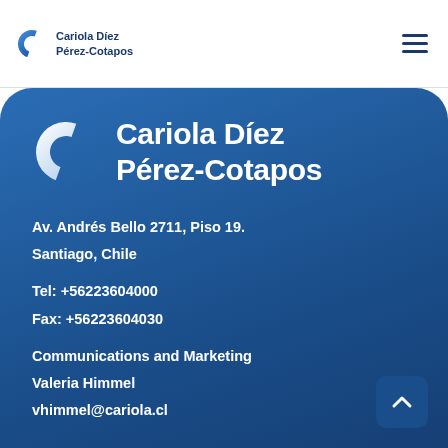[Figure (logo): Cariola Diez Pérez-Cotapos law firm logo with C icon in top navigation bar]
[Figure (logo): Cariola Díez Pérez-Cotapos large white logo with C icon on blue background]
Av. Andrés Bello 2711, Piso 19.
Santiago, Chile
Tel: +56223604000
Fax: +56223604030
Communications and Marketing
Valeria Himmel
vhimmel@cariola.cl